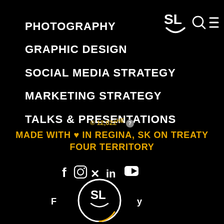PHOTOGRAPHY
GRAPHIC DESIGN
SOCIAL MEDIA STRATEGY
MARKETING STRATEGY
TALKS & PRESENTATIONS
[Figure (logo): SL smiley face logo with search and hamburger menu icons in top right]
© 12,022HE ?
MADE WITH ♥ IN REGINA, SK ON TREATY FOUR TERRITORY
[Figure (logo): Social media icons: Facebook, Instagram, Twitter/X, LinkedIn, YouTube, Pinterest, and SL circular logo]